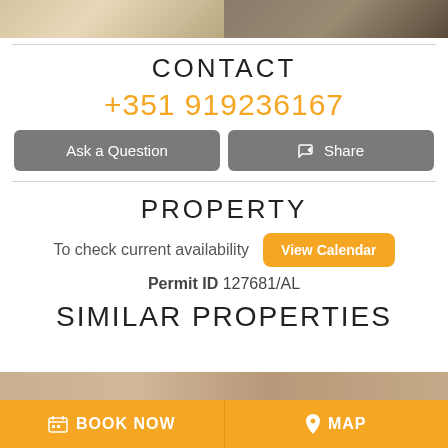[Figure (photo): Two property interior photos side by side at top of page]
CONTACT
+351 919236167
Ask a Question
Share
PROPERTY
To check current availability
View Calendar
Permit ID 127681/AL
SIMILAR PROPERTIES
BOOK NOW
MAP